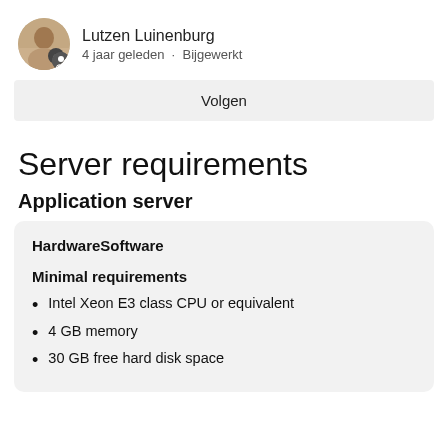Lutzen Luinenburg
4 jaar geleden · Bijgewerkt
Volgen
Server requirements
Application server
HardwareSoftware
Minimal requirements
Intel Xeon E3 class CPU or equivalent
4 GB memory
30 GB free hard disk space